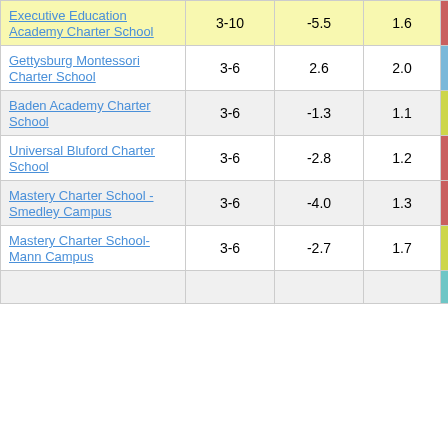| School | Grades | Col3 | Col4 | Score |
| --- | --- | --- | --- | --- |
| Executive Education Academy Charter School | 3-10 | -5.5 | 1.6 | -3.40 |
| Gettysburg Montessori Charter School | 3-6 | 2.6 | 2.0 | 1.29 |
| Baden Academy Charter School | 3-6 | -1.3 | 1.1 | -1.21 |
| Universal Bluford Charter School | 3-6 | -2.8 | 1.2 | -2.37 |
| Mastery Charter School - Smedley Campus | 3-6 | -4.0 | 1.3 | -3.18 |
| Mastery Charter School-Mann Campus | 3-6 | -2.7 | 1.7 | -1.60 |